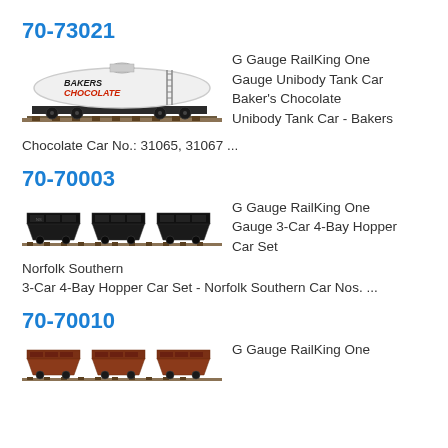70-73021
[Figure (photo): G Gauge RailKing One Gauge Unibody Tank Car labeled Baker's Chocolate, white tank car on track]
G Gauge RailKing One Gauge Unibody Tank Car Baker's Chocolate Unibody Tank Car - Bakers Chocolate Car No.: 31065, 31067 ...
70-70003
[Figure (photo): G Gauge RailKing One Gauge 3-Car 4-Bay Hopper Car Set, three black hopper cars on track]
G Gauge RailKing One Gauge 3-Car 4-Bay Hopper Car Set Norfolk Southern 3-Car 4-Bay Hopper Car Set - Norfolk Southern Car Nos. ...
70-70010
[Figure (photo): G Gauge RailKing One Gauge train cars, brown/rust colored hopper cars on track]
G Gauge RailKing One